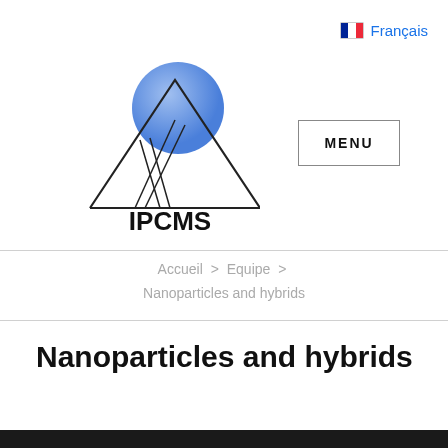🇫🇷 Français
[Figure (logo): IPCMS logo with a blue sphere on diagonal lines above text IPCMS]
[Figure (other): MENU button with border]
Accueil > Equipe > Nanoparticles and hybrids
Nanoparticles and hybrids